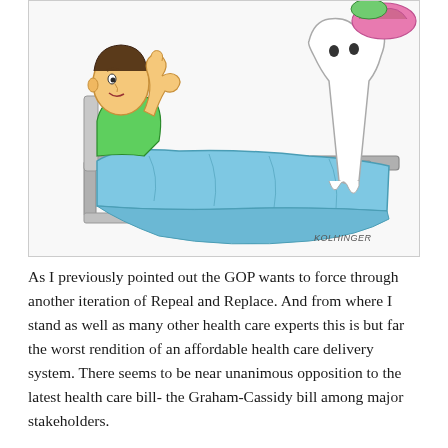[Figure (illustration): Editorial cartoon showing a person lying in a hospital bed covered with a blue blanket, wearing a green shirt, appearing distressed. A white figure (possibly a doctor or ghost) stands at the right side. The cartoon is signed 'KOLHINGER' in the lower right corner.]
As I previously pointed out the GOP wants to force through another iteration of Repeal and Replace. And from where I stand as well as many other health care experts this is but far the worst rendition of an affordable health care delivery system. There seems to be near unanimous opposition to the latest health care bill- the Graham-Cassidy bill among major stakeholders.
Shannon Firth the Washingto Correspondent of MedPage pointed out that momentum is building for the GOP's latest